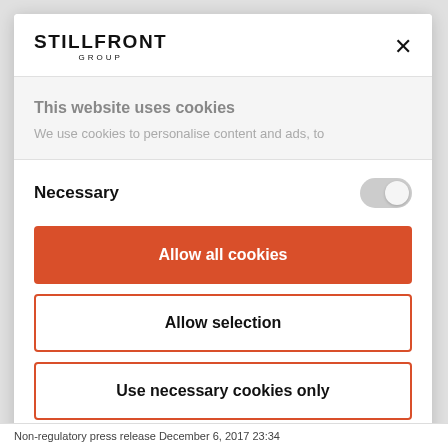[Figure (logo): Stillfront Group logo with bold uppercase STILLFRONT text and GROUP subtitle]
This website uses cookies
We use cookies to personalise content and ads, to
Necessary
Allow all cookies
Allow selection
Use necessary cookies only
Non-regulatory press release December 6, 2017 23:34